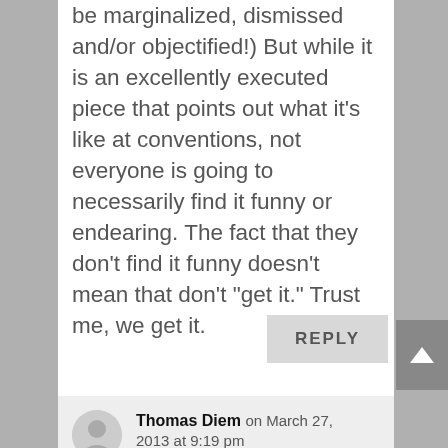be marginalized, dismissed and/or objectified!) But while it is an excellently executed piece that points out what it's like at conventions, not everyone is going to necessarily find it funny or endearing. The fact that they don't find it funny doesn't mean that don't “get it.” Trust me, we get it.
REPLY
Thomas Diem on March 27, 2013 at 9:19 pm